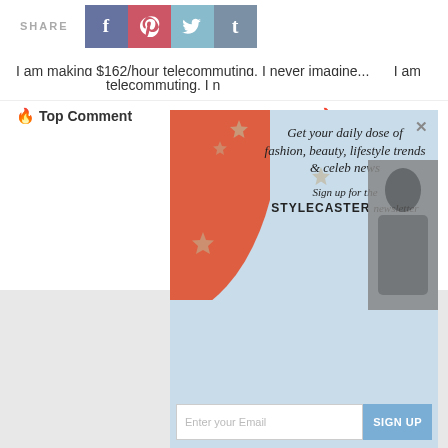SHARE
[Figure (screenshot): Social share buttons: Facebook (blue-purple), Pinterest (red-pink), Twitter (light blue), Tumblr (blue-gray)]
I am making $162/hour telecommuting. I never imagine...
I am making $162 telecommuting. I n
🔥 Top Comment
👍 1
🔥 Top Comment
[Figure (screenshot): Stylecaster newsletter signup popup overlay with light blue background, red corner decoration, stars, headline 'Get your daily dose of fashion, beauty, lifestyle trends & celeb news', 'Sign up for the STYLECASTER newsletter', email input field, SIGN UP button, woman photo, X close button]
Get your daily dose of fashion, beauty, lifestyle trends & celeb news
Sign up for the STYLECASTER newsletter
Enter your Email
SIGN UP
It's time to save online conversation.
Learn more